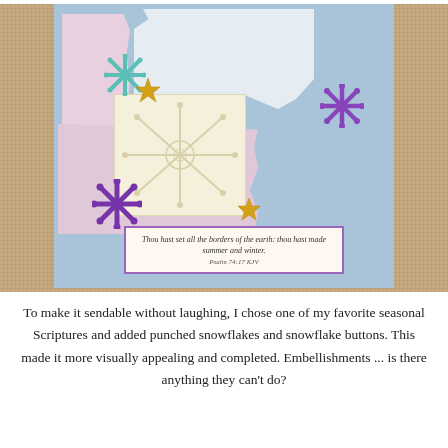[Figure (photo): A handmade greeting card on a burlap background. The card has a light blue base with pink torn paper strips, white feathery tissue, a cream embossed snowflake square, teal and purple punched snowflakes, gold glitter stars, and a scripture quote box with a purple border reading: 'Thou hast set all the borders of the earth: thou hast made summer and winter. Psalm 74:17 KJV']
To make it sendable without laughing, I chose one of my favorite seasonal Scriptures and added punched snowflakes and snowflake buttons. This made it more visually appealing and completed. Embellishments ... is there anything they can't do?